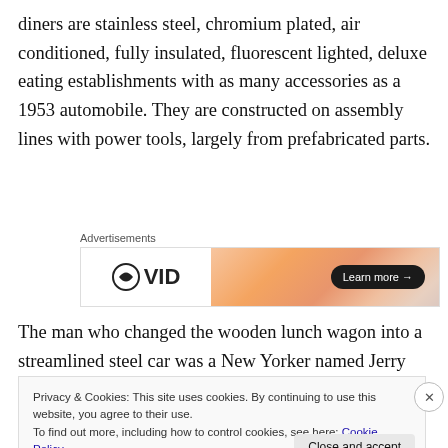diners are stainless steel, chromium plated, air conditioned, fully insulated, fluorescent lighted, deluxe eating establishments with as many accessories as a 1953 automobile. They are constructed on assembly lines with power tools, largely from prefabricated parts.
[Figure (other): Advertisement banner with Wix VIP logo on white left side and orange/peach gradient on right side with a 'Learn more →' button]
The man who changed the wooden lunch wagon into a streamlined steel car was a New Yorker named Jerry
Privacy & Cookies: This site uses cookies. By continuing to use this website, you agree to their use.
To find out more, including how to control cookies, see here: Cookie Policy

Close and accept